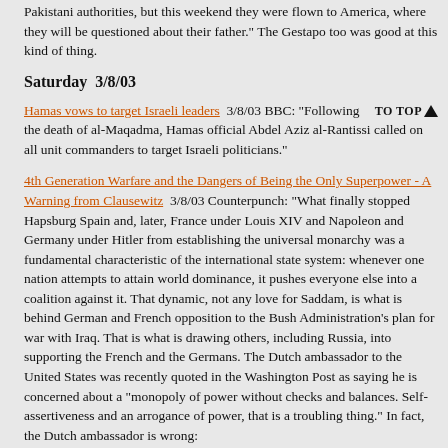Pakistani authorities, but this weekend they were flown to America, where they will be questioned about their father." The Gestapo too was good at this kind of thing.
Saturday  3/8/03
Hamas vows to target Israeli leaders  3/8/03 BBC: "Following the death of al-Maqadma, Hamas official Abdel Aziz al-Rantissi called on all unit commanders to target Israeli politicians."
4th Generation Warfare and the Dangers of Being the Only Superpower - A Warning from Clausewitz  3/8/03 Counterpunch: "What finally stopped Hapsburg Spain and, later, France under Louis XIV and Napoleon and Germany under Hitler from establishing the universal monarchy was a fundamental characteristic of the international state system: whenever one nation attempts to attain world dominance, it pushes everyone else into a coalition against it. That dynamic, not any love for Saddam, is what is behind German and French opposition to the Bush Administration's plan for war with Iraq. That is what is drawing others, including Russia, into supporting the French and the Germans. The Dutch ambassador to the United States was recently quoted in the Washington Post as saying he is concerned about a "monopoly of power without checks and balances. Self-assertiveness and an arrogance of power, that is a troubling thing." In fact, the Dutch ambassador is wrong: